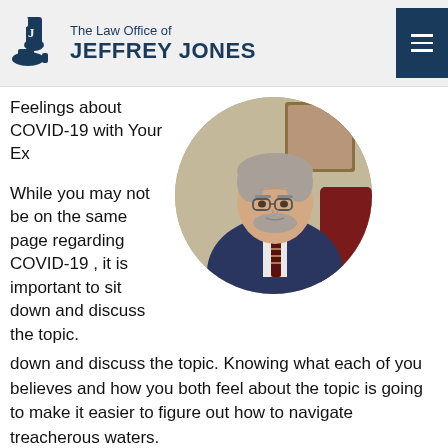The Law Office of JEFFREY JONES
Feelings about COVID-19 with Your Ex
[Figure (photo): Circular portrait photo of an older man with gray hair and beard, wearing glasses, a dark suit jacket, white shirt, and striped tie. Background shows an ornate painting and a dark red chair.]
While you may not be on the same page regarding COVID-19 , it is important to sit down and discuss the topic. Knowing what each of you believes and how you both feel about the topic is going to make it easier to figure out how to navigate treacherous waters.